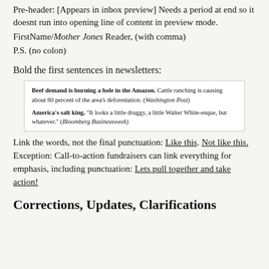Pre-header: [Appears in inbox preview] Needs a period at end so it doesnt run into opening line of content in preview mode.
FirstName/Mother Jones Reader, (with comma)
P.S. (no colon)
Bold the first sentences in newsletters:
[Figure (screenshot): Example box showing two newsletter excerpts with bolded first sentences: 'Beef demand is burning a hole in the Amazon.' and 'America's salt king.']
Link the words, not the final punctuation: Like this. Not like this. Exception: Call-to-action fundraisers can link everything for emphasis, including punctuation: Lets pull together and take action!
Corrections, Updates, Clarifications